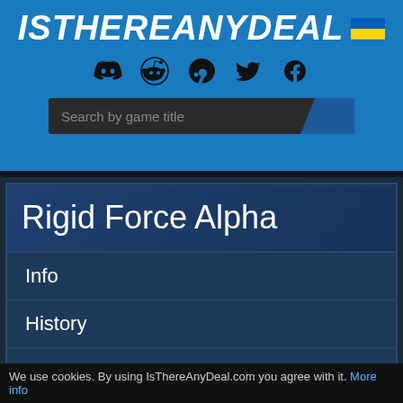IsThereAnyDEAL
[Figure (logo): Social media icons: Discord, Reddit, Steam, Twitter, Facebook]
[Figure (screenshot): Search bar with placeholder 'Search by game title' on dark background with blue corner accent]
Rigid Force Alpha
Info
History
Stats
Regions
[Figure (screenshot): Dark preview area with glowing blue light bar at bottom]
We use cookies. By using IsThereAnyDeal.com you agree with it. More info